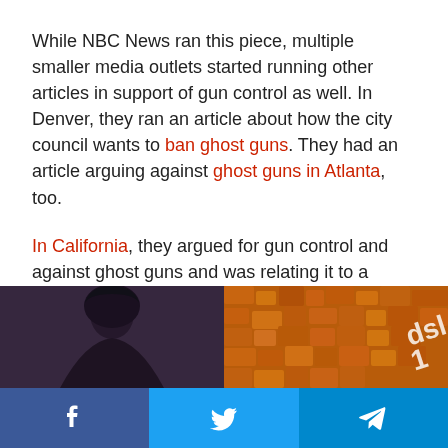While NBC News ran this piece, multiple smaller media outlets started running other articles in support of gun control as well. In Denver, they ran an article about how the city council wants to ban ghost guns. They had an article arguing against ghost guns in Atlanta, too.
In California, they argued for gun control and against ghost guns and was relating it to a potential school shooting. Another one in California ran a coordinated attack on the popularity of ghost guns in the area.
[Figure (photo): Two side-by-side images: left shows a woman with dark hair, right shows orange spice/food with text overlay reading 'dsl 1']
Facebook | Twitter | Telegram social share buttons